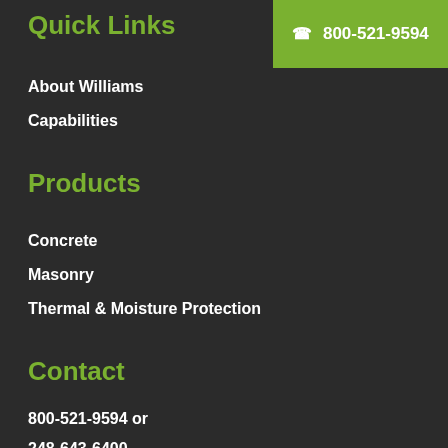Quick Links
800-521-9594
About Williams
Capabilities
Products
Concrete
Masonry
Thermal & Moisture Protection
Contact
800-521-9594 or
248-643-6400